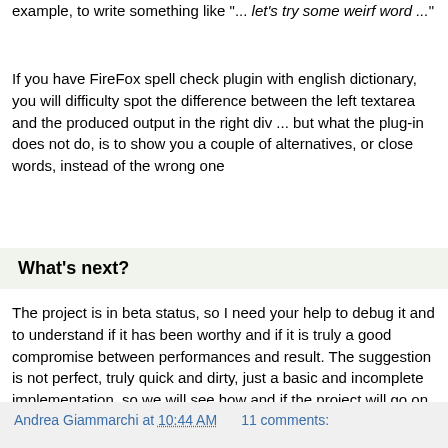example, to write something like "... let's try some weirf word ..."
If you have FireFox spell check plugin with english dictionary, you will difficulty spot the difference between the left textarea and the produced output in the right div ... but what the plug-in does not do, is to show you a couple of alternatives, or close words, instead of the wrong one
What's next?
The project is in beta status, so I need your help to debug it and to understand if it has been worthy and if it is truly a good compromise between performances and result. The suggestion is not perfect, truly quick and dirty, just a basic and incomplete implementation, so we will see how and if the project will go on ;-)
Andrea Giammarchi at 10:44 AM    11 comments: